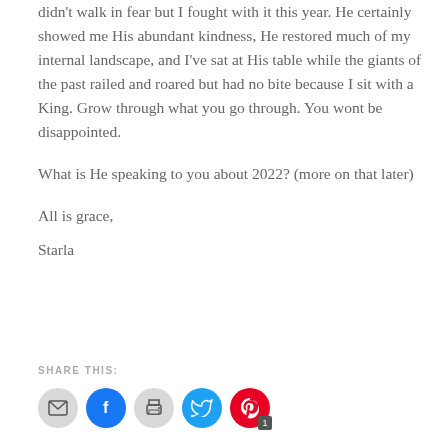didn't walk in fear but I fought with it this year. He certainly showed me His abundant kindness, He restored much of my internal landscape, and I've sat at His table while the giants of the past railed and roared but had no bite because I sit with a King. Grow through what you go through. You wont be disappointed.
What is He speaking to you about 2022? (more on that later)
All is grace,
Starla
SHARE THIS: